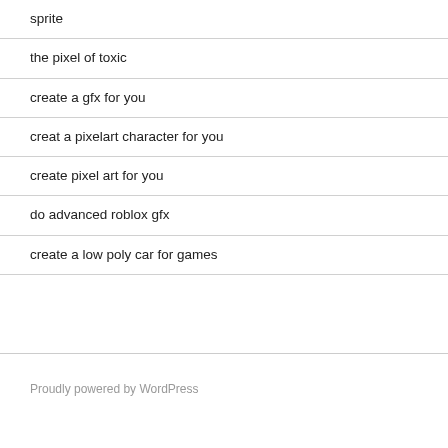sprite
the pixel of toxic
create a gfx for you
creat a pixelart character for you
create pixel art for you
do advanced roblox gfx
create a low poly car for games
Proudly powered by WordPress